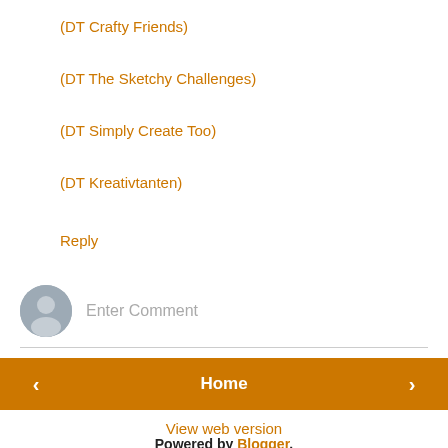(DT Crafty Friends)
(DT The Sketchy Challenges)
(DT Simply Create Too)
(DT Kreativtanten)
Reply
Enter Comment
Home
View web version
Powered by Blogger.